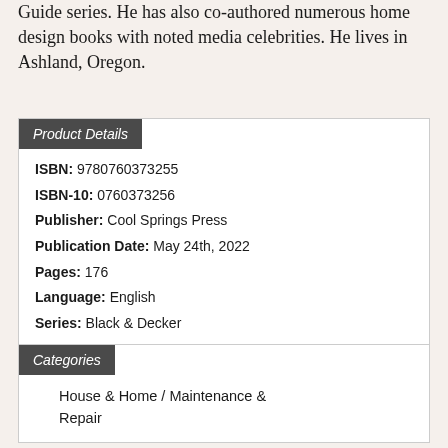Guide series. He has also co-authored numerous home design books with noted media celebrities. He lives in Ashland, Oregon.
Product Details
ISBN: 9780760373255
ISBN-10: 0760373256
Publisher: Cool Springs Press
Publication Date: May 24th, 2022
Pages: 176
Language: English
Series: Black & Decker
Categories
House & Home / Maintenance & Repair